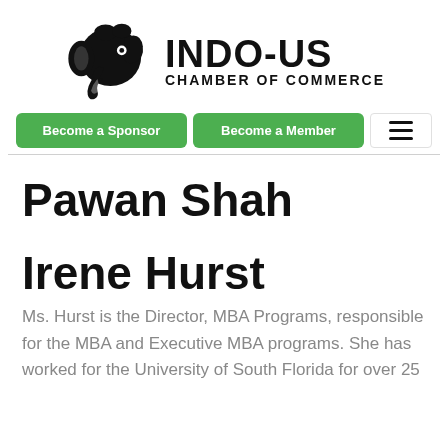[Figure (logo): Indo-US Chamber of Commerce logo with elephant head silhouette and organization name]
Become a Sponsor | Become a Member
Pawan Shah
Irene Hurst
Ms. Hurst is the Director, MBA Programs, responsible for the MBA and Executive MBA programs. She has worked for the University of South Florida for over 25